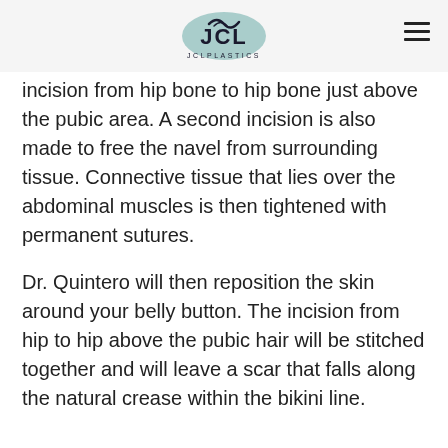JCL Plastics logo and navigation
incision from hip bone to hip bone just above the pubic area. A second incision is also made to free the navel from surrounding tissue. Connective tissue that lies over the abdominal muscles is then tightened with permanent sutures.
Dr. Quintero will then reposition the skin around your belly button. The incision from hip to hip above the pubic hair will be stitched together and will leave a scar that falls along the natural crease within the bikini line.